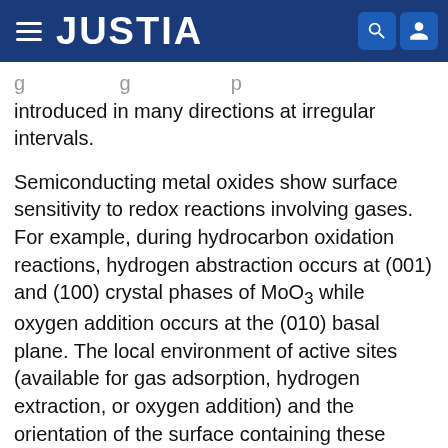JUSTIA
introduced in many directions at irregular intervals.
Semiconducting metal oxides show surface sensitivity to redox reactions involving gases. For example, during hydrocarbon oxidation reactions, hydrogen abstraction occurs at (001) and (100) crystal phases of MoO₃ while oxygen addition occurs at the (010) basal plane. The local environment of active sites (available for gas adsorption, hydrogen extraction, or oxygen addition) and the orientation of the surface containing these active sites, vary for different phases of a given system, and thus the catalytic behavior of these phases is variable. Oxygen basicity is found to increase with decreasing Mo—O bond strength occurring at different surfaces. Surface oxygen vacancies formed under reduction conditions may influence gas adsorption processes. They may result in slightly reduced metal